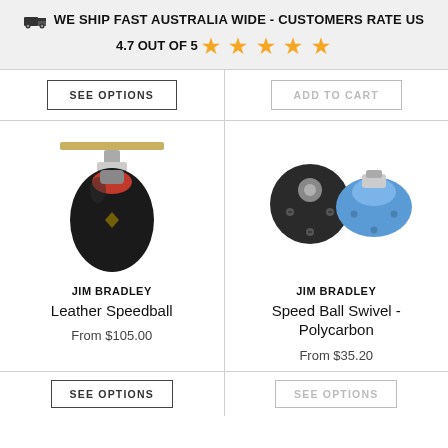WE SHIP FAST AUSTRALIA WIDE - CUSTOMERS RATE US 4.7 OUT OF 5 ★★★★★
SEE OPTIONS
ADD TO CART
[Figure (photo): Black leather speedball with mounting bracket on top]
JIM BRADLEY
Leather Speedball
From $105.00
[Figure (photo): Two speed ball swivel components - one black and one blue polycarbon]
JIM BRADLEY
Speed Ball Swivel - Polycarbon
From $35.20